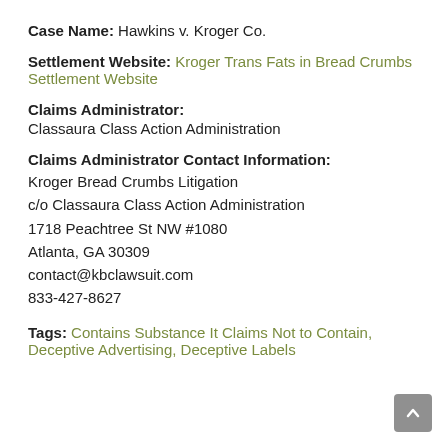Case Name: Hawkins v. Kroger Co.
Settlement Website: Kroger Trans Fats in Bread Crumbs Settlement Website
Claims Administrator: Classaura Class Action Administration
Claims Administrator Contact Information: Kroger Bread Crumbs Litigation c/o Classaura Class Action Administration 1718 Peachtree St NW #1080 Atlanta, GA 30309 contact@kbclawsuit.com 833-427-8627
Tags: Contains Substance It Claims Not to Contain, Deceptive Advertising, Deceptive Labels